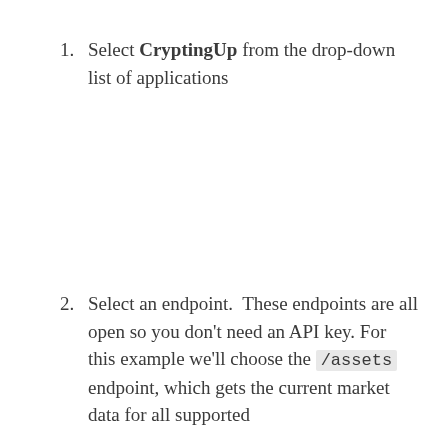Select CryptingUp from the drop-down list of applications
Select an endpoint.  These endpoints are all open so you don't need an API key. For this example we'll choose the /assets endpoint, which gets the current market data for all supported